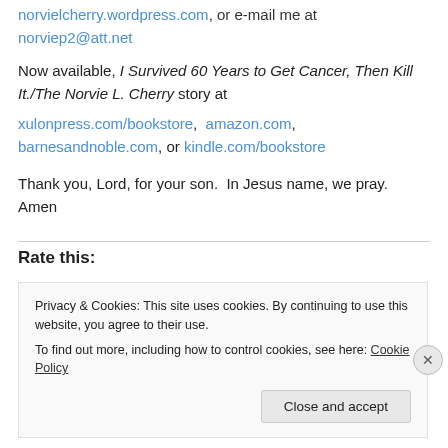norvielcherry.wordpress.com, or e-mail me at norviep2@att.net
Now available, I Survived 60 Years to Get Cancer, Then Kill It./The Norvie L. Cherry story at xulonpress.com/bookstore, amazon.com, barnesandnoble.com, or kindle.com/bookstore
Thank you, Lord, for your son.  In Jesus name, we pray. Amen
Rate this:
Privacy & Cookies: This site uses cookies. By continuing to use this website, you agree to their use.
To find out more, including how to control cookies, see here: Cookie Policy
Close and accept